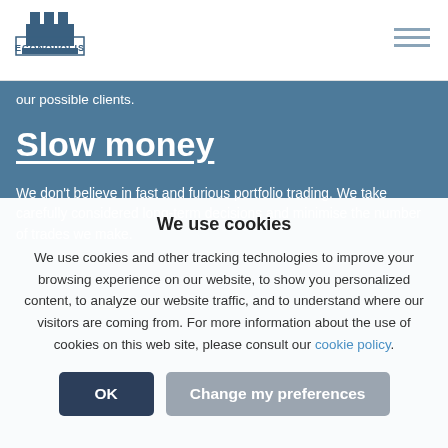ECONOPOLIS
our possible clients.
Slow money
We don't believe in fast and furious portfolio trading. We take carefully considered long-term decisions and minimise the number of trades we make.
We use cookies
We use cookies and other tracking technologies to improve your browsing experience on our website, to show you personalized content, to analyze our website traffic, and to understand where our visitors are coming from. For more information about the use of cookies on this web site, please consult our cookie policy.
OK  Change my preferences